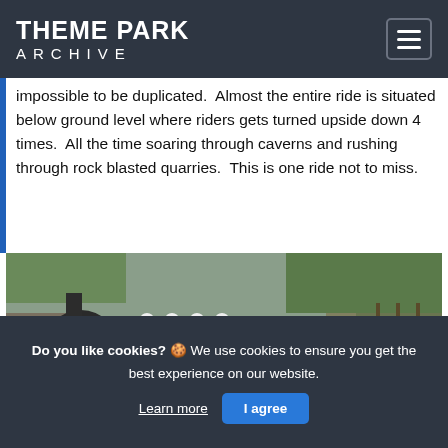THEME PARK ARCHIVE
impossible to be duplicated.  Almost the entire ride is situated below ground level where riders gets turned upside down 4 times.  All the time soaring through caverns and rushing through rock blasted quarries.  This is one ride not to miss.
[Figure (photo): A roller coaster train traveling along steel track in an outdoor quarry setting, surrounded by rock faces and green vegetation. The track appears to be in a deep cutting or quarry environment.]
Do you like cookies? 🍪 We use cookies to ensure you get the best experience on our website. Learn more | I agree